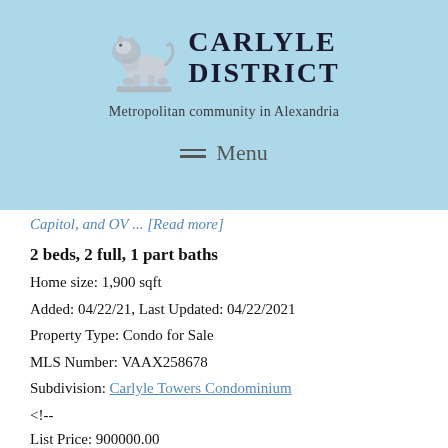[Figure (logo): Carlyle District logo with lion statue and brand name]
Metropolitan community in Alexandria
Menu
Capitol, and OV ... [Read more]
2 beds, 2 full, 1 part baths
Home size: 1,900 sqft
Added: 04/22/21, Last Updated: 04/22/2021
Property Type: Condo for Sale
MLS Number: VAAX258678
Subdivision: Carlyle Towers Condominium
<!--
List Price: 900000.00
-->